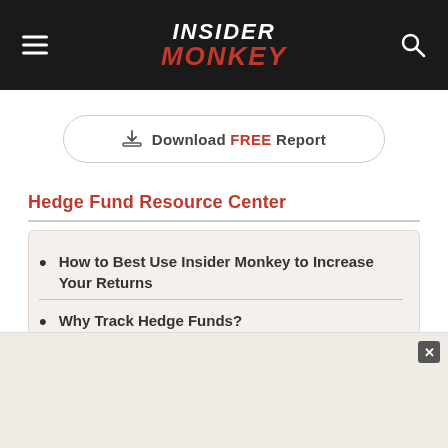Insider Monkey
Download FREE Report
Hedge Fund Resource Center
How to Best Use Insider Monkey to Increase Your Returns
Why Track Hedge Funds?
Download a Free Edition!
Why You Should DUMP Your Hedge Funds
6 Things You Didn't Know About